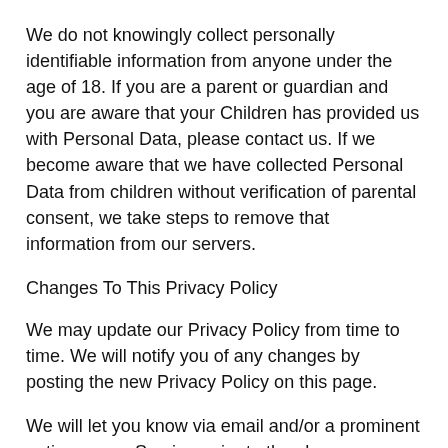We do not knowingly collect personally identifiable information from anyone under the age of 18. If you are a parent or guardian and you are aware that your Children has provided us with Personal Data, please contact us. If we become aware that we have collected Personal Data from children without verification of parental consent, we take steps to remove that information from our servers.
Changes To This Privacy Policy
We may update our Privacy Policy from time to time. We will notify you of any changes by posting the new Privacy Policy on this page.
We will let you know via email and/or a prominent notice on our Service, prior to the change becoming effective and update the "effective date" at the top of this Privacy Policy.
You are advised to review this Privacy Policy periodically for any changes. Changes to this Privacy Policy are effective when they are posted on this page.